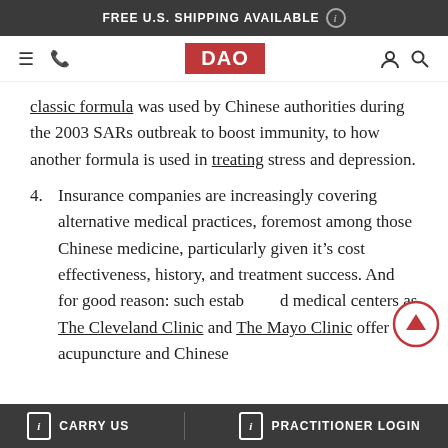FREE U.S. SHIPPING AVAILABLE
[Figure (logo): DAO logo navigation bar with hamburger menu, phone, DAO logo in red, user and search icons]
Classic formula was used by Chinese authorities during the 2003 SARs outbreak to boost immunity, to how another formula is used in treating stress and depression.
4. Insurance companies are increasingly covering alternative medical practices, foremost among those Chinese medicine, particularly given it’s cost effectiveness, history, and treatment success. And for good reason: such established medical centers as The Cleveland Clinic and The Mayo Clinic offer acupuncture and Chinese
CARRY US   PRACTITIONER LOGIN